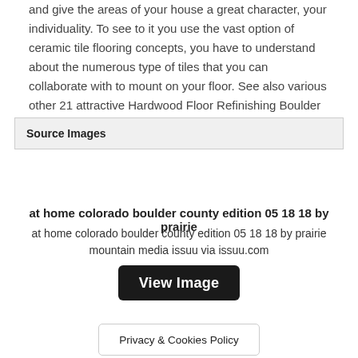and give the areas of your house a great character, your individuality. To see to it you use the vast option of ceramic tile flooring concepts, you have to understand about the numerous type of tiles that you can collaborate with to mount on your floor. See also various other 21 attractive Hardwood Floor Refinishing Boulder below here!
Source Images
at home colorado boulder county edition 05 18 18 by prairie
at home colorado boulder county edition 05 18 18 by prairie mountain media issuu via issuu.com
[Figure (other): View Image button - dark rounded rectangle button with white text]
[Figure (other): Privacy & Cookies Policy button - white rounded rectangle with border]